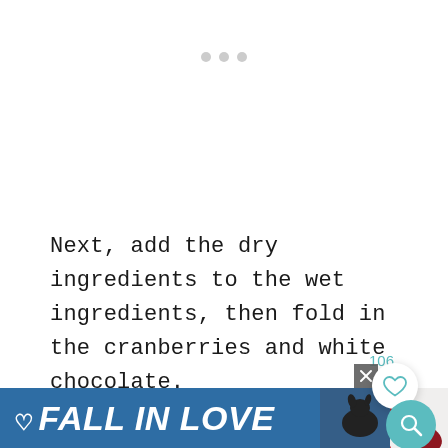[Figure (other): Three grey dots (loading/pagination indicator) centered near the top of the page]
Next, add the dry ingredients to the wet ingredients, then fold in the cranberries and white chocolate.
[Figure (photo): Photo strip showing cranberries scattered on a light background, partially visible at bottom of page. A circular like button with heart icon and count '106' and a teal search button are overlaid.]
[Figure (infographic): Advertisement banner reading 'FALL IN LOVE' with a heart icon and dog image, on blue background with close button]